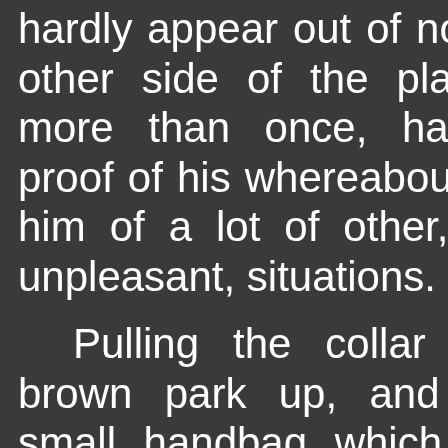hardly appear out of nowhere on the other side of the planet. And, for more than once, having physical proof of his whereabouts had spared him of a lot of other, more unpleasant, situations.

Pulling the collar of his dark-brown park up, and carrying the small handbag which his personal computer and
Light of the Shad - Chap 5
Light of the Shad - Chap 6
Light of the Shad - Chap 7
Light of the Shad -